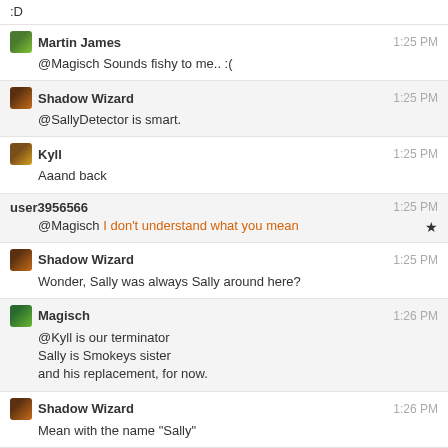:D
Martin James 1:25 PM
@Magisch Sounds fishy to me.. :(
Shadow Wizard 1:25 PM
@SallyDetector is smart.
Kyll 1:25 PM
Aaand back
user3956566 1:25 PM
@Magisch I don't understand what you mean
Shadow Wizard 1:25 PM
Wonder, Sally was always Sally around here?
Magisch 1:26 PM
@Kyll is our terminator
Sally is Smokeys sister
and his replacement, for now.
Shadow Wizard 1:26 PM
Mean with the name "Sally"
Martin James 1:26 PM
@Magisch He'll be back...